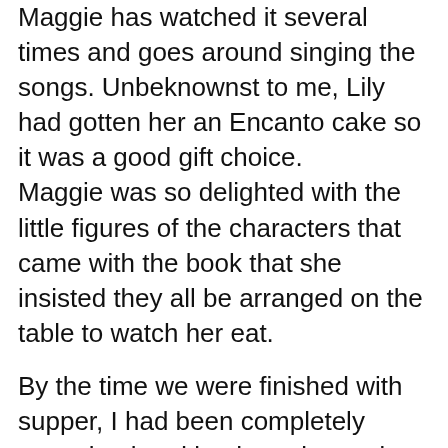Maggie has watched it several times and goes around singing the songs. Unbeknownst to me, Lily had gotten her an Encanto cake so it was a good gift choice. Maggie was so delighted with the little figures of the characters that came with the book that she insisted they all be arranged on the table to watch her eat.
By the time we were finished with supper, I had been completely overstimulated by the noise and activity and people. The inside part of the restaurant was still completely full and no one was wearing a mask, servers were running hither and yon with trays of food and drink, and every time I went in to use the restroom (we were there a long time) I came out feeling like I was in some sort of Fellini dreamscape of noise and color and underlying threat. So when we finished our meal I was grateful to hug everyone good-bye and come home to Lloyd where Maurice was waiting in the yard for us to come home.